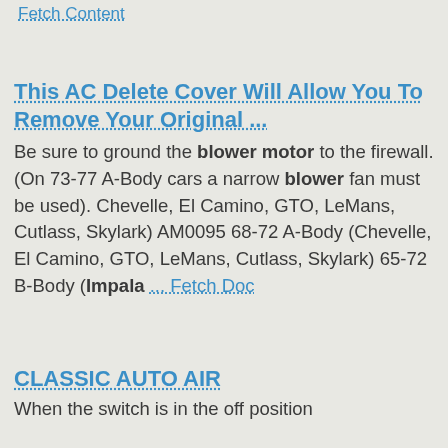Fetch Content
This AC Delete Cover Will Allow You To Remove Your Original ...
Be sure to ground the blower motor to the firewall. (On 73-77 A-Body cars a narrow blower fan must be used). Chevelle, El Camino, GTO, LeMans, Cutlass, Skylark) AM0095 68-72 A-Body (Chevelle, El Camino, GTO, LeMans, Cutlass, Skylark) 65-72 B-Body (Impala ... Fetch Doc
CLASSIC AUTO AIR
When the switch is in the off position